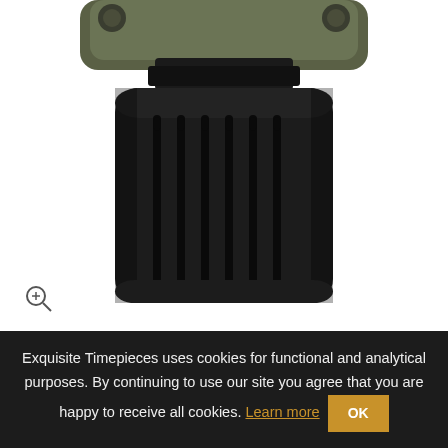[Figure (photo): Close-up product photo of a black rubber watch strap with vertical grooves/holes, attached to a military-green square watch case. The image is cropped to show mainly the lower strap portion.]
[Figure (photo): Thumbnail image of a Bell & Ross square watch with black rubber strap and military green case, showing the full watch face.]
Exquisite Timepieces uses cookies for functional and analytical purposes. By continuing to use our site you agree that you are happy to receive all cookies. Learn more  OK